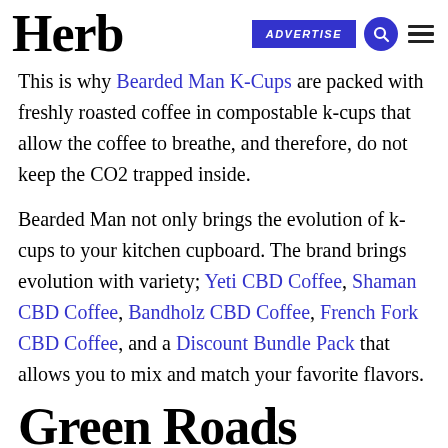Herb | ADVERTISE
This is why Bearded Man K-Cups are packed with freshly roasted coffee in compostable k-cups that allow the coffee to breathe, and therefore, do not keep the CO2 trapped inside.
Bearded Man not only brings the evolution of k-cups to your kitchen cupboard. The brand brings evolution with variety; Yeti CBD Coffee, Shaman CBD Coffee, Bandholz CBD Coffee, French Fork CBD Coffee, and a Discount Bundle Pack that allows you to mix and match your favorite flavors.
Green Roads